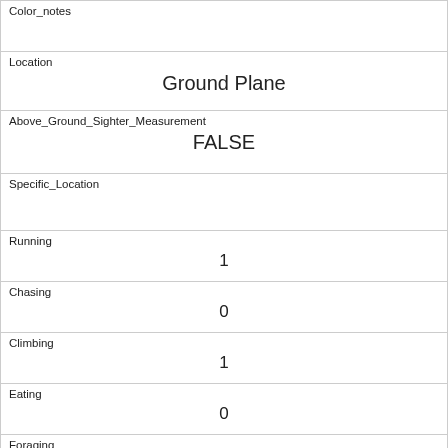| Color_notes |  |
| Location | Ground Plane |
| Above_Ground_Sighter_Measurement | FALSE |
| Specific_Location |  |
| Running | 1 |
| Chasing | 0 |
| Climbing | 1 |
| Eating | 0 |
| Foraging | 1 |
| Other_Activities |  |
| Kuks |  |